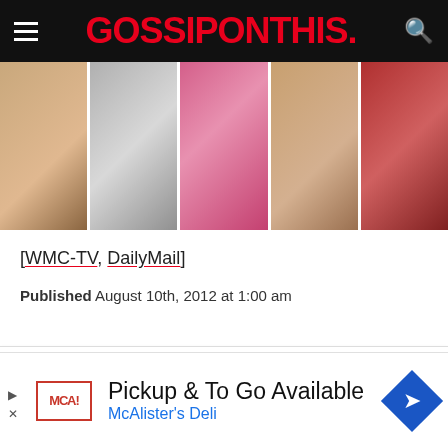GOSSIPONTHIS.
[Figure (photo): A horizontal strip of five thumbnail images showing various people]
[WMC-TV, DailyMail]
Published August 10th, 2012 at 1:00 am
he first to receive breaking news alerts and
[Figure (other): McAlister's Deli advertisement: Pickup & To Go Available]